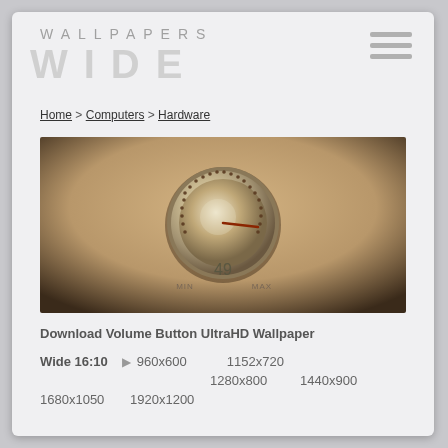WALLPAPERS WIDE
Home > Computers > Hardware
[Figure (photo): Volume knob wallpaper preview showing a golden/bronze audio volume knob set to 49, with MIN and MAX labels, on a warm gradient background fading from gold to dark brown.]
Download Volume Button UltraHD Wallpaper
Wide 16:10  ▶  960x600  1152x720  1280x800  1440x900  1680x1050  1920x1200